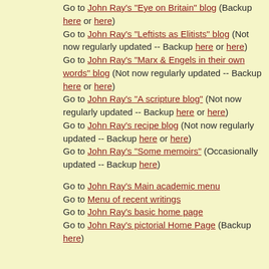Go to John Ray's "Eye on Britain" blog (Backup here or here)
Go to John Ray's "Leftists as Elitists" blog (Not now regularly updated -- Backup here or here)
Go to John Ray's "Marx & Engels in their own words" blog (Not now regularly updated -- Backup here or here)
Go to John Ray's "A scripture blog" (Not now regularly updated -- Backup here or here)
Go to John Ray's recipe blog (Not now regularly updated -- Backup here or here)
Go to John Ray's "Some memoirs" (Occasionally updated -- Backup here)
Go to John Ray's Main academic menu
Go to Menu of recent writings
Go to John Ray's basic home page
Go to John Ray's pictorial Home Page (Backup here)